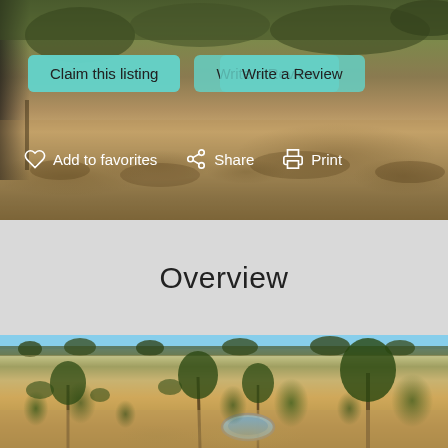[Figure (photo): Aerial or landscape photo of a dry Kalahari-type desert scene with scrub brush and sandy terrain, possibly a game farm or nature reserve listing. Dark area on left with vehicle/equipment visible.]
Claim this listing
Write a Review
Add to favorites
Share
Print
Overview
[Figure (photo): Wide landscape photo of a flat, arid Kalahari desert scene with sparse thorn trees and scrub bush on sandy ground. A circular concrete waterhole or drinking trough is visible in the foreground-center area.]